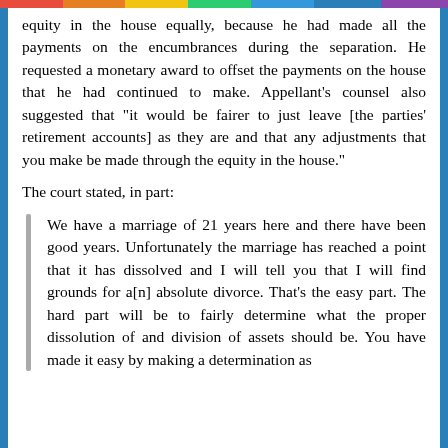equity in the house equally, because he had made all the payments on the encumbrances during the separation. He requested a monetary award to offset the payments on the house that he had continued to make. Appellant's counsel also suggested that "it would be fairer to just leave [the parties' retirement accounts] as they are and that any adjustments that you make be made through the equity in the house."
The court stated, in part:
We have a marriage of 21 years here and there have been good years. Unfortunately the marriage has reached a point that it has dissolved and I will tell you that I will find grounds for a[n] absolute divorce. That's the easy part. The hard part will be to fairly determine what the proper dissolution of and division of assets should be. You have made it easy by making a determination as